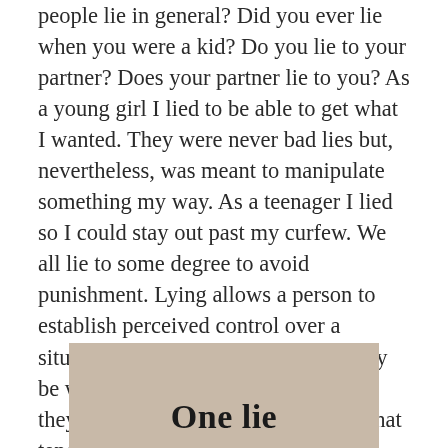people lie in general? Did you ever lie when you were a kid? Do you lie to your partner? Does your partner lie to you? As a young girl I lied to be able to get what I wanted. They were never bad lies but, nevertheless, was meant to manipulate something my way. As a teenager I lied so I could stay out past my curfew. We all lie to some degree to avoid punishment. Lying allows a person to establish perceived control over a situation by manipulating it. They may be white lies or fibs but, nevertheless, they are lies. Then there are bad lies that tend to hurt oneself and others. Lying can become a character flaw if there is a pattern with no regret.
[Figure (illustration): Partially visible image with a tan/beige background showing bold text 'One lie' at the bottom, cropped at the bottom of the page.]